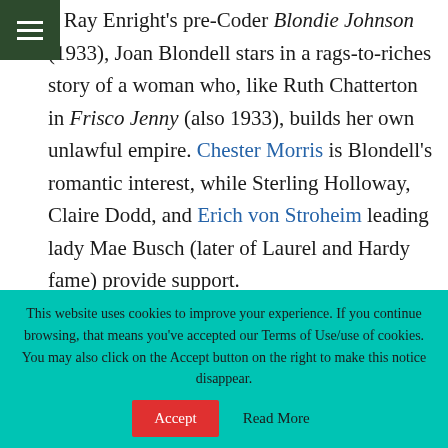n Ray Enright's pre-Coder Blondie Johnson (1933), Joan Blondell stars in a rags-to-riches story of a woman who, like Ruth Chatterton in Frisco Jenny (also 1933), builds her own unlawful empire. Chester Morris is Blondell's romantic interest, while Sterling Holloway, Claire Dodd, and Erich von Stroheim leading lady Mae Busch (later of Laurel and Hardy fame) provide support.
This website uses cookies to improve your experience. If you continue browsing, that means you've accepted our Terms of Use/use of cookies. You may also click on the Accept button on the right to make this notice disappear.